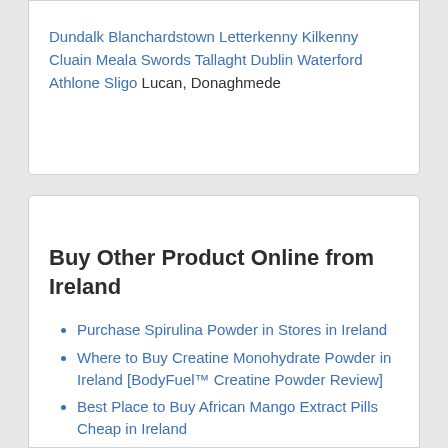Dundalk Blanchardstown Letterkenny Kilkenny Cluain Meala Swords Tallaght Dublin Waterford Athlone Sligo Lucan, Donaghmede
Buy Other Product Online from Ireland
Purchase Spirulina Powder in Stores in Ireland
Where to Buy Creatine Monohydrate Powder in Ireland [BodyFuel™ Creatine Powder Review]
Best Place to Buy African Mango Extract Pills Cheap in Ireland